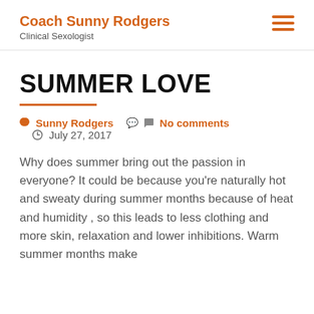Coach Sunny Rodgers
Clinical Sexologist
SUMMER LOVE
Sunny Rodgers   No comments   July 27, 2017
Why does summer bring out the passion in everyone? It could be because you're naturally hot and sweaty during summer months because of heat and humidity , so this leads to less clothing and more skin, relaxation and lower inhibitions. Warm summer months make